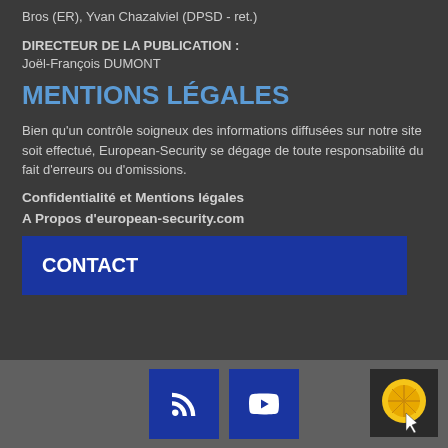Bros (ER), Yvan Chazalviel (DPSD - ret.)
DIRECTEUR DE LA PUBLICATION : Joël-François DUMONT
MENTIONS LÉGALES
Bien qu'un contrôle soigneux des informations diffusées sur notre site soit effectué, European-Security se dégage de toute responsabilité du fait d'erreurs ou d'omissions.
Confidentialité et Mentions légales
A Propos d'european-security.com
CONTACT
[Figure (other): Footer bar with RSS feed icon button, YouTube icon button, and a lemon/orange icon with cursor overlay on the right]